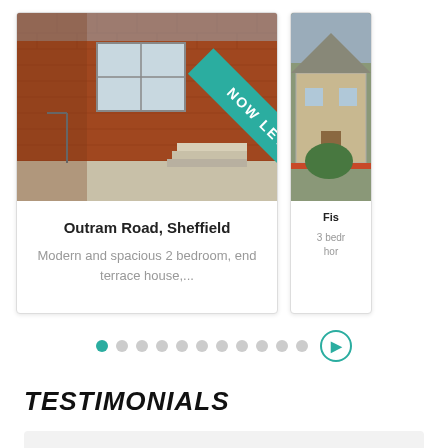[Figure (photo): Photo of a red brick semi-detached house with a 'NOW LET' teal diagonal banner overlay]
Outram Road, Sheffield
Modern and spacious 2 bedroom, end terrace house,...
[Figure (photo): Partial photo of another property (cropped, second card)]
Fis
3 bedr hor
Slideshow navigation dots and right arrow button
TESTIMONIALS
I have utilised JADE